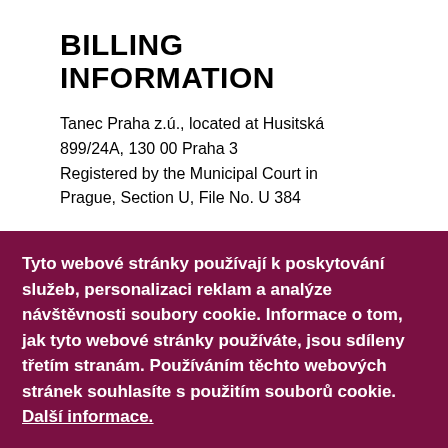BILLING INFORMATION
Tanec Praha z.ú., located at Husitská 899/24A, 130 00 Praha 3
Registered by the Municipal Court in Prague, Section U, File No. U 384
Tyto webové stránky používají k poskytování služeb, personalizaci reklam a analýze návštěvnosti soubory cookie. Informace o tom, jak tyto webové stránky používáte, jsou sdíleny třetím stranám. Používáním těchto webových stránek souhlasíte s použitím souborů cookie. Další informace.
ROZUMÍM